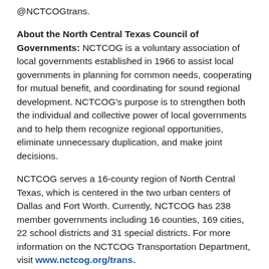@NCTCOGtrans.
About the North Central Texas Council of Governments: NCTCOG is a voluntary association of local governments established in 1966 to assist local governments in planning for common needs, cooperating for mutual benefit, and coordinating for sound regional development. NCTCOG's purpose is to strengthen both the individual and collective power of local governments and to help them recognize regional opportunities, eliminate unnecessary duplication, and make joint decisions.
NCTCOG serves a 16-county region of North Central Texas, which is centered in the two urban centers of Dallas and Fort Worth. Currently, NCTCOG has 238 member governments including 16 counties, 169 cities, 22 school districts and 31 special districts. For more information on the NCTCOG Transportation Department, visit www.nctcog.org/trans.
About Air North Texas:
Air North Texas is a regional air quality partnership and general public outreach effort. Air North Texas leverages